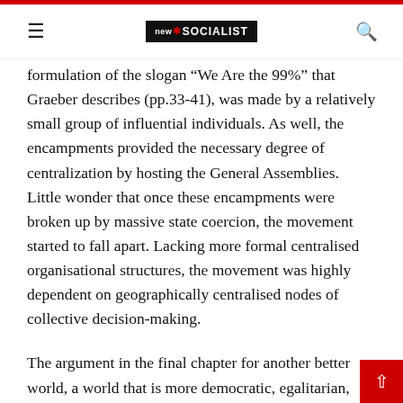new socialist
formulation of the slogan “We Are the 99%” that Graeber describes (pp.33-41), was made by a relatively small group of influential individuals. As well, the encampments provided the necessary degree of centralization by hosting the General Assemblies. Little wonder that once these encampments were broken up by massive state coercion, the movement started to fall apart. Lacking more formal centralised organisational structures, the movement was highly dependent on geographically centralised nodes of collective decision-making.
The argument in the final chapter for another better world, a world that is more democratic, egalitarian, libertarian and environmentally sustainable, would be more convincing if Graeber had drawn upon the small